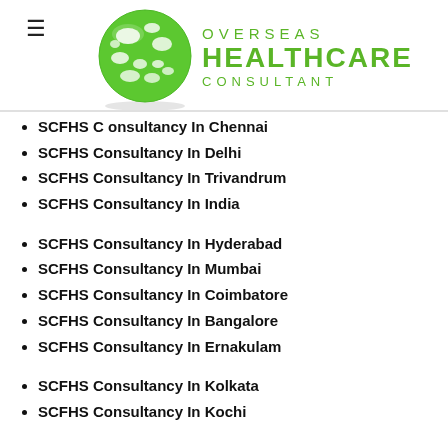≡ OVERSEAS HEALTHCARE CONSULTANT
SCFHS Consultancy In Chennai
SCFHS Consultancy In Delhi
SCFHS Consultancy In Trivandrum
SCFHS Consultancy In India
SCFHS Consultancy In Hyderabad
SCFHS Consultancy In Mumbai
SCFHS Consultancy In Coimbatore
SCFHS Consultancy In Bangalore
SCFHS Consultancy In Ernakulam
SCFHS Consultancy In Kolkata
SCFHS Consultancy In Kochi